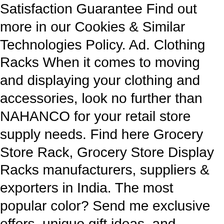Satisfaction Guarantee Find out more in our Cookies & Similar Technologies Policy. Ad. Clothing Racks When it comes to moving and displaying your clothing and accessories, look no further than NAHANCO for your retail store supply needs. Find here Grocery Store Rack, Grocery Store Display Racks manufacturers, suppliers & exporters in India. The most popular color? Send me exclusive offers, unique gift ideas, and personalized tips for shopping and selling on Etsy. This project is a full-on closet and it's absolutely gorgeous. Our racks are easy to setup, will fit a large assortment of bicycles without adjustment, and make displaying and removing bicycles effortless for your employees. Rack Shop Rack Retail Accessories Shops Display Rack Pegboard Metal Shelf. DIY Mobile Lumber Rack. If you are looking for something mobile that holds several different sizes … Select from three different finishes: Cobblestone, Raw Steel, or Ivory.All of these clothes racks come with standard flat caps, but you can add a custom